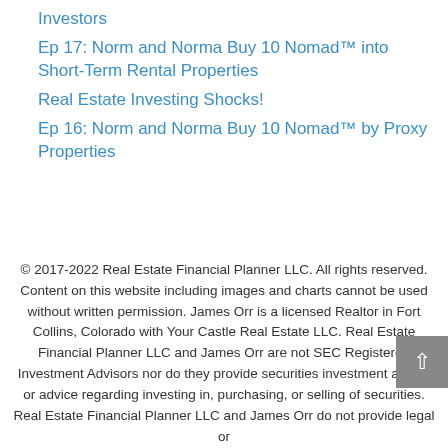Investors
Ep 17: Norm and Norma Buy 10 Nomad™ into Short-Term Rental Properties
Real Estate Investing Shocks!
Ep 16: Norm and Norma Buy 10 Nomad™ by Proxy Properties
© 2017-2022 Real Estate Financial Planner LLC. All rights reserved. Content on this website including images and charts cannot be used without written permission. James Orr is a licensed Realtor in Fort Collins, Colorado with Your Castle Real Estate LLC. Real Estate Financial Planner LLC and James Orr are not SEC Registered Investment Advisors nor do they provide securities investment advice or advice regarding investing in, purchasing, or selling of securities. Real Estate Financial Planner LLC and James Orr do not provide legal or